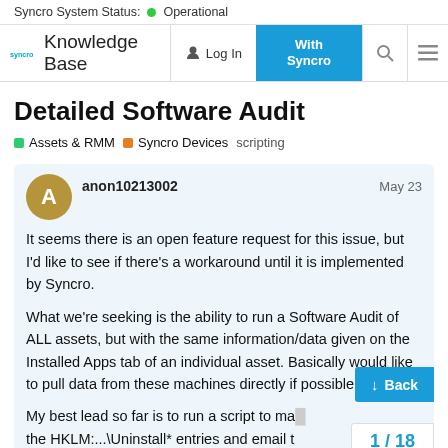Syncro System Status: Operational
Syncro Knowledge Base | Log In | With Syncro
Detailed Software Audit
Assets & RMM  Syncro Devices  scripting
anon10213002  May 23
It seems there is an open feature request for this issue, but I'd like to see if there's a workaround until it is implemented by Syncro.

What we're seeking is the ability to run a Software Audit of ALL assets, but with the same information/data given on the Installed Apps tab of an individual asset. Basically would like to pull data from these machines directly if possible.

My best lead so far is to run a script to make the HKLM:...\Uninstall* entries and email t